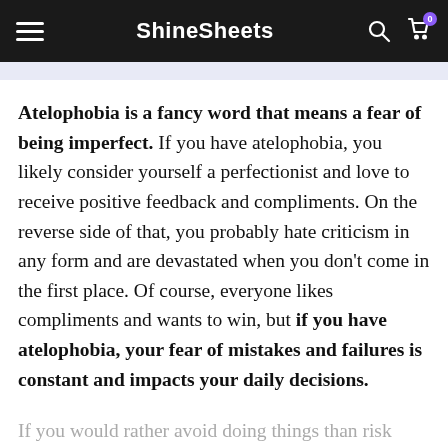ShineSheets
Atelophobia is a fancy word that means a fear of being imperfect. If you have atelophobia, you likely consider yourself a perfectionist and love to receive positive feedback and compliments. On the reverse side of that, you probably hate criticism in any form and are devastated when you don't come in the first place. Of course, everyone likes compliments and wants to win, but if you have atelophobia, your fear of mistakes and failures is constant and impacts your daily decisions.
If you would rather avoid doing things than risk doing